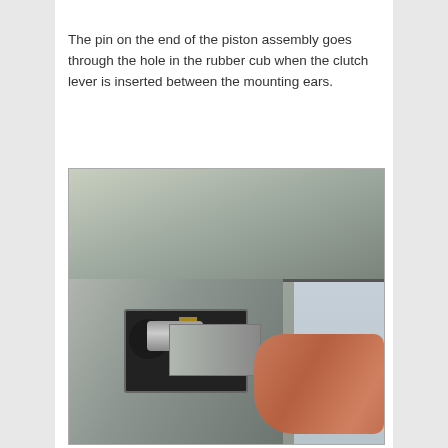The pin on the end of the piston assembly goes through the hole in the rubber cub when the clutch lever is inserted between the mounting ears.
[Figure (photo): Close-up photograph of a piston assembly pin being inserted through a rubber component into a clutch lever mounting area on a metal engine component. A hand/finger is visible pushing the bracket into position. A cable runs through the background.]